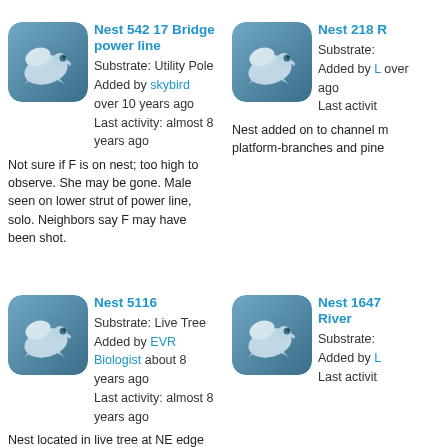[Figure (illustration): Osprey silhouette icon on blue-grey gradient rounded square background]
Nest 542 17 Bridge power line
Substrate: Utility Pole
Added by skybird over 10 years ago
Last activity: almost 8 years ago
Not sure if F is on nest; too high to observe. She may be gone. Male seen on lower strut of power line, solo. Neighbors say F may have been shot.
[Figure (illustration): Osprey silhouette icon on blue-grey gradient rounded square background]
Nest 218 R
Substrate:
Added by L over
ago
Last activit
Nest added on to channel m platform-branches and pine
[Figure (illustration): Osprey silhouette icon on blue-grey gradient rounded square background]
Nest 5116
Substrate: Live Tree
Added by EVR Biologist about 8 years ago
Last activity: almost 8 years ago
Nest located in live tree at NE edge of Peedee creek entrance.
[Figure (illustration): Osprey silhouette icon on blue-grey gradient rounded square background]
Nest 1647 River
Substrate:
Added by L
Last activit